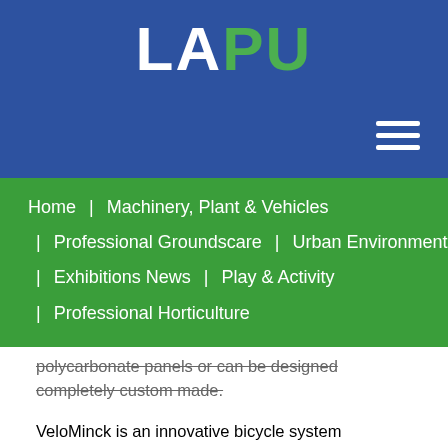[Figure (logo): LAPU logo with white LA and green PU text on blue background]
Home | Machinery, Plant & Vehicles | Professional Groundscare | Urban Environment | Exhibitions News | Play & Activity | Professional Horticulture
polycarbonate panels or can be designed completely custom made.
VeloMinck is an innovative bicycle system automatically parks bicycles, out of sight and safe against theft and vandalism. The cycle is taken from the user and transported to a secure storage space and retrieved as and when requested by the cyclist. As with the VelowSpace, the Velominck can be designed for indoor or outdoor use.